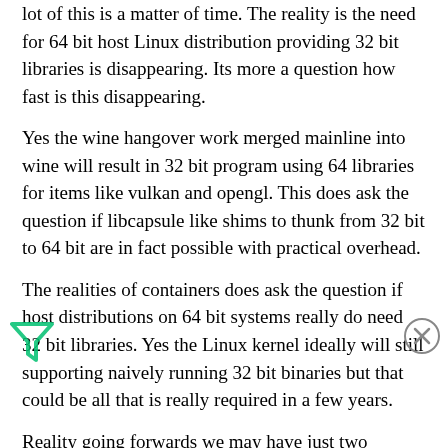lot of this is a matter of time. The reality is the need for 64 bit host Linux distribution providing 32 bit libraries is disappearing. Its more a question how fast is this disappearing.
Yes the wine hangover work merged mainline into wine will result in 32 bit program using 64 libraries for items like vulkan and opengl. This does ask the question if libcapsule like shims to thunk from 32 bit to 64 bit are in fact possible with practical overhead.
The realities of containers does ask the question if host distributions on 64 bit systems really do need 32 bit libraries. Yes the Linux kernel ideally will still supporting naively running 32 bit binaries but that could be all that is really required in a few years.
Reality going forwards we may have just two providers of 32 bit runtimes for 64 bit Linux distributions going forwards being